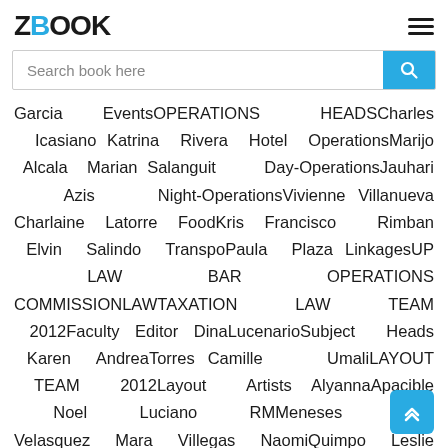ZBOOK
Search book here
Garcia EventsOPERATIONS HEADSCharles Icasiano Katrina Rivera Hotel OperationsMarijo Alcala Marian Salanguit Day-OperationsJauhari Azis Night-OperationsVivienne Villanueva Charlaine Latorre FoodKris Francisco Rimban Elvin Salindo TranspoPaula Plaza LinkagesUP LAW BAR OPERATIONS COMMISSIONLAWTAXATION LAW TEAM 2012Faculty Editor DinaLucenarioSubject Heads Karen AndreaTorres Camille UmaliLAYOUT TEAM 2012Layout Artists AlyannaApacible Noel Luciano RMMeneses Jenin Velasquez Mara Villegas NaomiQuimpo Leslie Octaviano Yas Refran Cris BernardinoLayout Head GracielloTinay Reyes